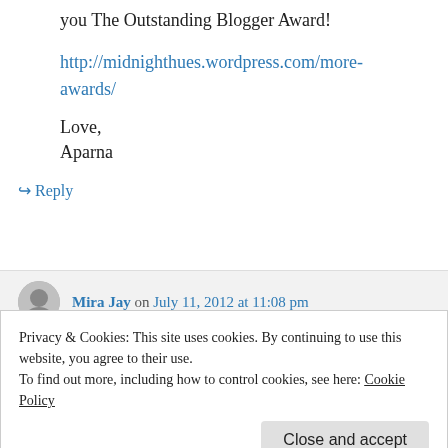you The Outstanding Blogger Award!
http://midnighthues.wordpress.com/more-awards/
Love,
Aparna
↪ Reply
Mira Jay on July 11, 2012 at 11:08 pm
Privacy & Cookies: This site uses cookies. By continuing to use this website, you agree to their use.
To find out more, including how to control cookies, see here: Cookie Policy
Close and accept